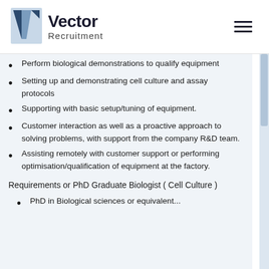[Figure (logo): Vector Recruitment logo with stylized V icon and company name]
Perform biological demonstrations to qualify equipment
Setting up and demonstrating cell culture and assay protocols
Supporting with basic setup/tuning of equipment.
Customer interaction as well as a proactive approach to solving problems, with support from the company R&D team.
Assisting remotely with customer support or performing optimisation/qualification of equipment at the factory.
Requirements or PhD Graduate Biologist ( Cell Culture )
PhD in Biological sciences or equivalent...